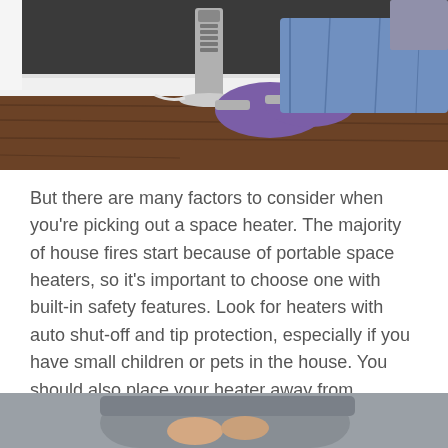[Figure (photo): Photo of a person in purple socks and jeans warming feet near a tower space heater on a hardwood floor, with a white baseboard and dark wall in background.]
But there are many factors to consider when you're picking out a space heater. The majority of house fires start because of portable space heaters, so it's important to choose one with built-in safety features. Look for heaters with auto shut-off and tip protection, especially if you have small children or pets in the house. You should also place your heater away from flammable objects, like drapes and bedding.
[Figure (photo): Partial photo at bottom of page showing a person in a grey sweater, cropped.]